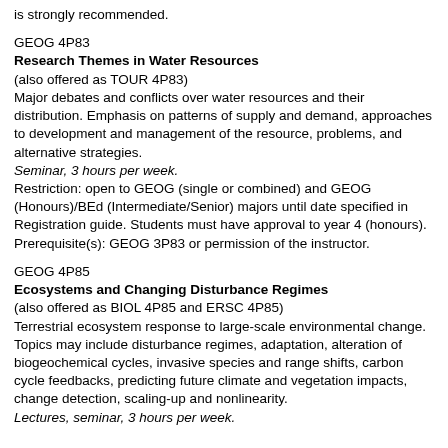is strongly recommended.
GEOG 4P83
Research Themes in Water Resources
(also offered as TOUR 4P83)
Major debates and conflicts over water resources and their distribution. Emphasis on patterns of supply and demand, approaches to development and management of the resource, problems, and alternative strategies.
Seminar, 3 hours per week.
Restriction: open to GEOG (single or combined) and GEOG (Honours)/BEd (Intermediate/Senior) majors until date specified in Registration guide. Students must have approval to year 4 (honours).
Prerequisite(s): GEOG 3P83 or permission of the instructor.
GEOG 4P85
Ecosystems and Changing Disturbance Regimes
(also offered as BIOL 4P85 and ERSC 4P85)
Terrestrial ecosystem response to large-scale environmental change. Topics may include disturbance regimes, adaptation, alteration of biogeochemical cycles, invasive species and range shifts, carbon cycle feedbacks, predicting future climate and vegetation impacts, change detection, scaling-up and nonlinearity.
Lectures, seminar, 3 hours per week.